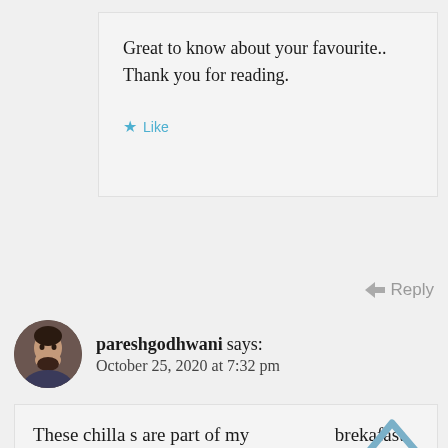Great to know about your favourite.. Thank you for reading.
Like
Reply
pareshgodhwani says: October 25, 2020 at 7:32 pm
[Figure (photo): Circular avatar photo of a young man with beard]
These chilla s are part of my brekafast. I can have them for breakfast, lunch and dinner